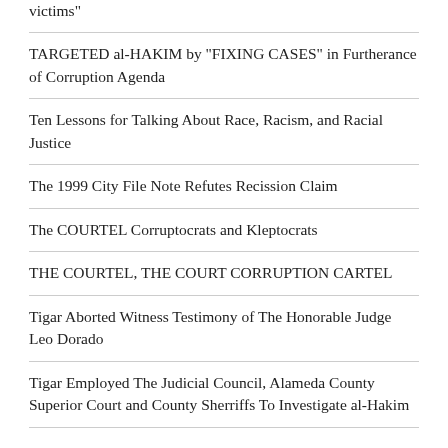victims"
TARGETED al-HAKIM by "FIXING CASES" in Furtherance of Corruption Agenda
Ten Lessons for Talking About Race, Racism, and Racial Justice
The 1999 City File Note Refutes Recission Claim
The COURTEL Corruptocrats and Kleptocrats
THE COURTEL, THE COURT CORRUPTION CARTEL
Tigar Aborted Witness Testimony of The Honorable Judge Leo Dorado
Tigar Employed The Judicial Council, Alameda County Superior Court and County Sherriffs To Investigate al-Hakim